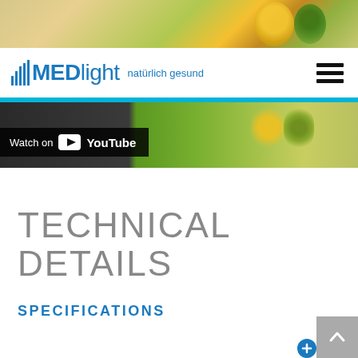[Figure (photo): Top banner photo showing sunflowers and natural background]
MEDlight natürlich gesund
[Figure (screenshot): YouTube video thumbnail with Watch on YouTube badge, showing sunflowers and green background]
TECHNICAL DETAILS
SPECIFICATIONS